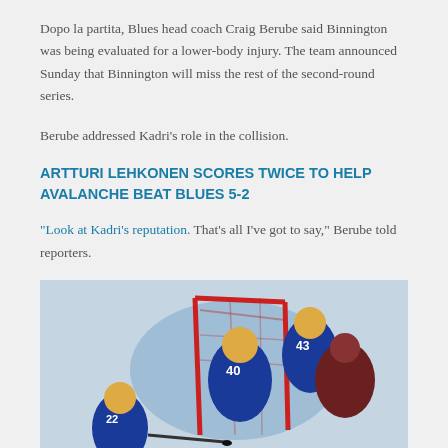Dopo la partita, Blues head coach Craig Berube said Binnington was being evaluated for a lower-body injury. The team announced Sunday that Binnington will miss the rest of the second-round series.
Berube addressed Kadri's role in the collision.
ARTTURI LEHKONEN SCORES TWICE TO HELP AVALANCHE BEAT BLUES 5-2
“Look at Kadri’s reputation. That’s all I’ve got to say,” Berube told reporters.
[Figure (photo): Overhead view of hockey players colliding near the goal crease during a Blues vs Avalanche game. Players wearing blue Blues jerseys including #43, and a player in burgundy Avalanche jersey, with the goalie in a blue crease area. Red goal posts and netting visible.]